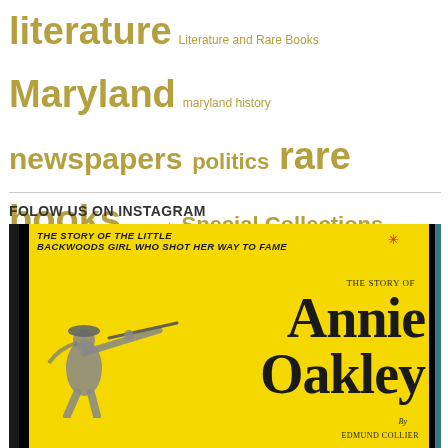literature Literature and Rare Books Maryland maryland history newspapers politics rare books research Special Collections Research suffrage UMD voting history voting rights William Morris women women's history women's history month women's rights
FOLOW US ON INSTAGRAM
[Figure (photo): Book cover for 'The Story of Annie Oakley' by Edmund Collier. Yellow cover with a silhouette of a woman shooting a rifle, text reading 'The Story of the Little Backwoods Girl Who Shot Her Way to Fame' at the top, and large bold serif text 'THE STORY OF Annie Oakley By Edmund Collier'.]